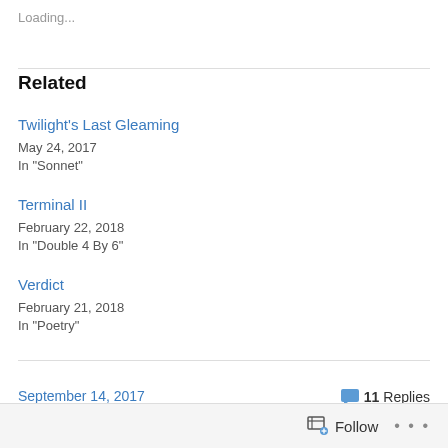Loading...
Related
Twilight's Last Gleaming
May 24, 2017
In "Sonnet"
Terminal II
February 22, 2018
In "Double 4 By 6"
Verdict
February 21, 2018
In "Poetry"
September 14, 2017
💬 11 Replies
Follow ...